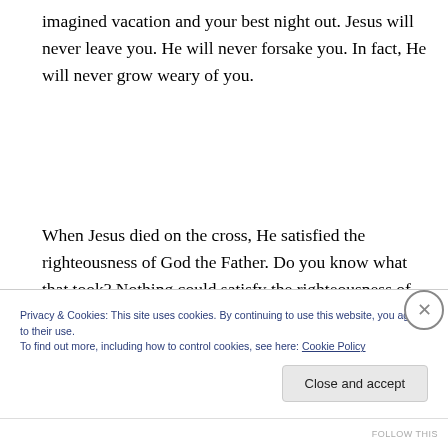imagined vacation and your best night out. Jesus will never leave you. He will never forsake you. In fact, He will never grow weary of you.
When Jesus died on the cross, He satisfied the righteousness of God the Father. Do you know what that took? Nothing could satisfy the righteousness of the Father.  Not me. Not you. Not anyone but Jesus.
Privacy & Cookies: This site uses cookies. By continuing to use this website, you agree to their use.
To find out more, including how to control cookies, see here: Cookie Policy